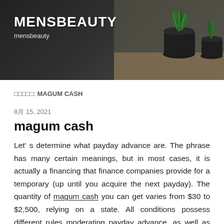[Figure (photo): Website header banner with dark background showing potted plants (succulent/cacti in dark pots) on a wooden surface, with site title MENSBEAUTY and subtitle mensbeauty overlaid in white text]
□□□□□: MAGUM CASH
8月 15, 2021
magum cash
Let' s determine what payday advance are. The phrase has many certain meanings, but in most cases, it is actually a financing that finance companies provide for a temporary (up until you acquire the next payday). The quantity of magum cash you can get varies from $30 to $2,500, relying on a state. All conditions possess different rules moderating payday advance, as well as there are actually 2 methods to obtain them: online or even via store